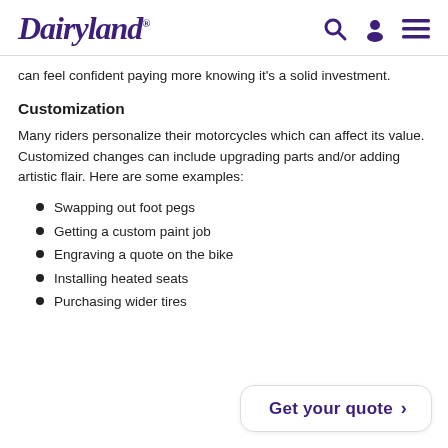Dairyland®
can feel confident paying more knowing it's a solid investment.
Customization
Many riders personalize their motorcycles which can affect its value. Customized changes can include upgrading parts and/or adding artistic flair. Here are some examples:
Swapping out foot pegs
Getting a custom paint job
Engraving a quote on the bike
Installing heated seats
Purchasing wider tires
Get your quote >